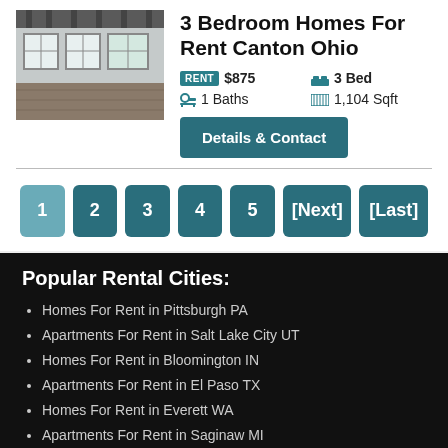[Figure (photo): Interior photo of a room with windows and bare floors]
3 Bedroom Homes For Rent Canton Ohio
RENT $875   3 Bed   1 Baths   1,104 Sqft
Details & Contact
1 2 3 4 5 [Next] [Last]
Popular Rental Cities:
Homes For Rent in Pittsburgh PA
Apartments For Rent in Salt Lake City UT
Homes For Rent in Bloomington IN
Apartments For Rent in El Paso TX
Homes For Rent in Everett WA
Apartments For Rent in Saginaw MI
Homes For Rent in Augusta GA